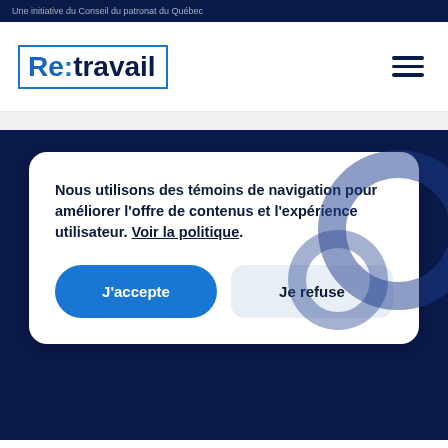Une initiative du Conseil du patronat du Québec
[Figure (logo): Re:travail logo — blue square border containing 'Re:' in blue and 'travail' in dark navy, with hamburger menu icon on the right]
Nous utilisons des témoins de navigation pour améliorer l'offre de contenus et l'expérience utilisateur. Voir la politique.
J'accepte
Je refuse